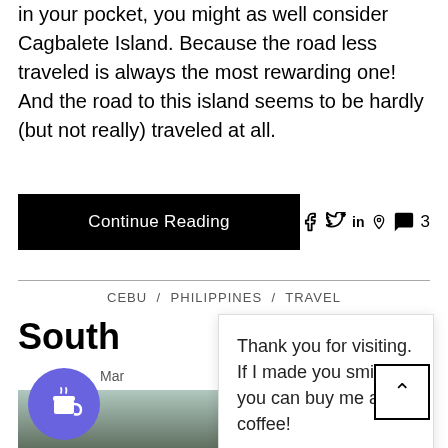in your pocket, you might as well consider Cagbalete Island. Because the road less traveled is always the most rewarding one! And the road to this island seems to be hardly (but not really) traveled at all.
Continue Reading
f  in  3
CEBU / PHILIPPINES / TRAVEL
South ... days
Mar  2016
Thank you for visiting. If I made you smile, you can buy me a coffee!